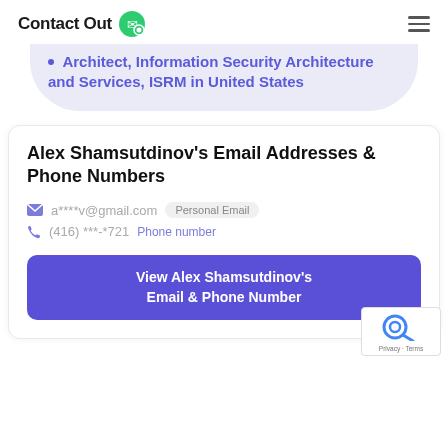ContactOut
Architect, Information Security Architecture and Services, ISRM in United States
Alex Shamsutdinov's Email Addresses & Phone Numbers
a****v@gmail.com  Personal Email
(416) ***-*721  Phone number
View Alex Shamsutdinov's Email & Phone Number